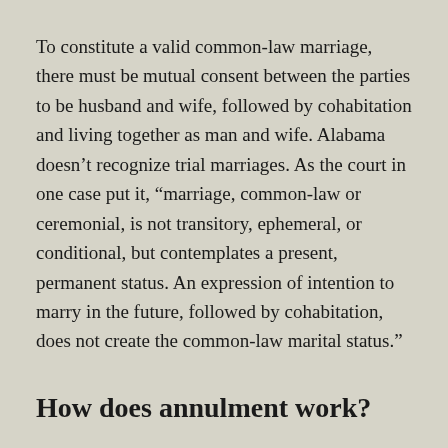To constitute a valid common-law marriage, there must be mutual consent between the parties to be husband and wife, followed by cohabitation and living together as man and wife. Alabama doesn't recognize trial marriages. As the court in one case put it, “marriage, common-law or ceremonial, is not transitory, ephemeral, or conditional, but contemplates a present, permanent status. An expression of intention to marry in the future, followed by cohabitation, does not create the common-law marital status.”
How does annulment work?